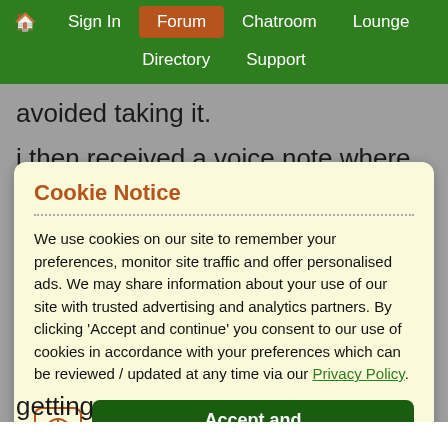🏠 Sign In | Forum | Chatroom | Lounge | Directory | Support
avoided taking it.
i then received a voice note where she said i am
Cookie Notice
We use cookies on our site to remember your preferences, monitor site traffic and offer personalised ads. We may share information about your use of our site with trusted advertising and analytics partners. By clicking 'Accept and continue' you consent to our use of cookies in accordance with your preferences which can be reviewed / updated at any time via our Privacy Policy.
Accept and continue
getting